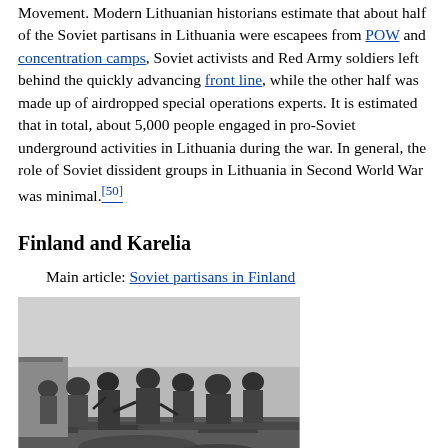Movement. Modern Lithuanian historians estimate that about half of the Soviet partisans in Lithuania were escapees from POW and concentration camps, Soviet activists and Red Army soldiers left behind the quickly advancing front line, while the other half was made up of airdropped special operations experts. It is estimated that in total, about 5,000 people engaged in pro-Soviet underground activities in Lithuania during the war. In general, the role of Soviet dissident groups in Lithuania in Second World War was minimal.[50]
Finland and Karelia
Main article: Soviet partisans in Finland
[Figure (photo): Black and white photograph of a group of people (Soviet partisans or soldiers) gathered together, apparently working or meeting amid rubble or rough terrain.]